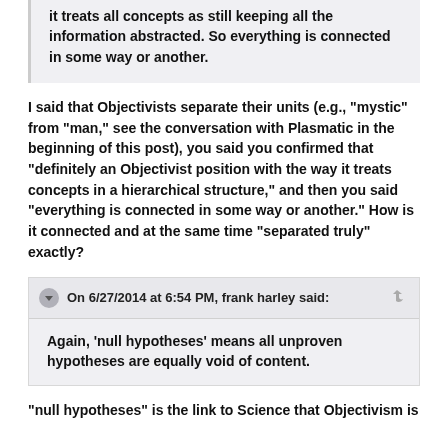it treats all concepts as still keeping all the information abstracted. So everything is connected in some way or another.
I said that Objectivists separate their units (e.g., "mystic" from "man," see the conversation with Plasmatic in the beginning of this post), you said you confirmed that "definitely an Objectivist position with the way it treats concepts in a hierarchical structure," and then you said "everything is connected in some way or another." How is it connected and at the same time "separated truly" exactly?
On 6/27/2014 at 6:54 PM, frank harley said:
Again, 'null hypotheses' means all unproven hypotheses are equally void of content.
"null hypotheses" is the link to Science that Objectivism is